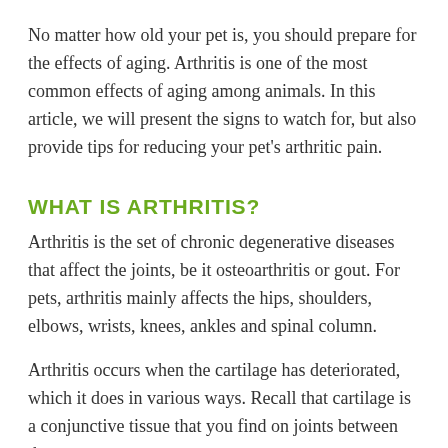No matter how old your pet is, you should prepare for the effects of aging. Arthritis is one of the most common effects of aging among animals. In this article, we will present the signs to watch for, but also provide tips for reducing your pet’s arthritic pain.
WHAT IS ARTHRITIS?
Arthritis is the set of chronic degenerative diseases that affect the joints, be it osteoarthritis or gout. For pets, arthritis mainly affects the hips, shoulders, elbows, wrists, knees, ankles and spinal column.
Arthritis occurs when the cartilage has deteriorated, which it does in various ways. Recall that cartilage is a conjunctive tissue that you find on joints between the